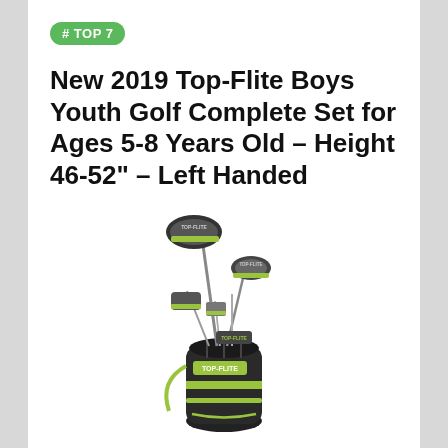# TOP 7
New 2019 Top-Flite Boys Youth Golf Complete Set for Ages 5-8 Years Old – Height 46-52" – Left Handed
[Figure (photo): Product photo of Top-Flite boys youth golf complete set showing multiple golf clubs (driver, fairway woods, irons) standing in a dark gray and neon green golf bag with Top-Flite branding.]